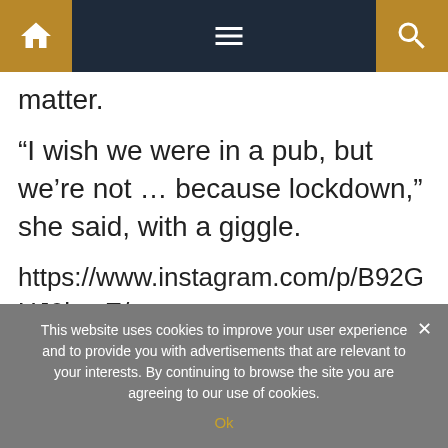[Navigation bar with home icon, hamburger menu, and search icon]
matter.
“I wish we were in a pub, but we’re not … because lockdown,” she said, with a giggle.
https://www.instagram.com/p/B92GUJ0hwtE/
This website uses cookies to improve your user experience and to provide you with advertisements that are relevant to your interests. By continuing to browse the site you are agreeing to our use of cookies.
Ok